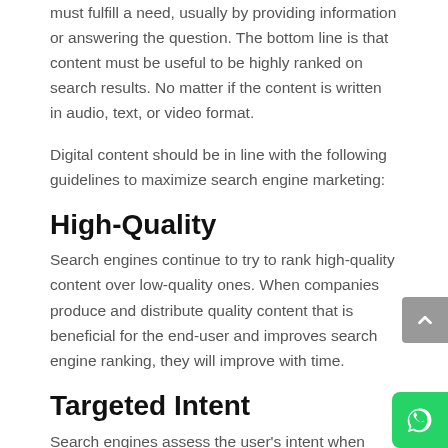must fulfill a need, usually by providing information or answering the question. The bottom line is that content must be useful to be highly ranked on search results. No matter if the content is written in audio, text, or video format.
Digital content should be in line with the following guidelines to maximize search engine marketing:
High-Quality
Search engines continue to try to rank high-quality content over low-quality ones. When companies produce and distribute quality content that is beneficial for the end-user and improves search engine ranking, they will improve with time.
Targeted Intent
Search engines assess the user's intent when they search to provide the most effective results. Therefore, content on the internet should be able to